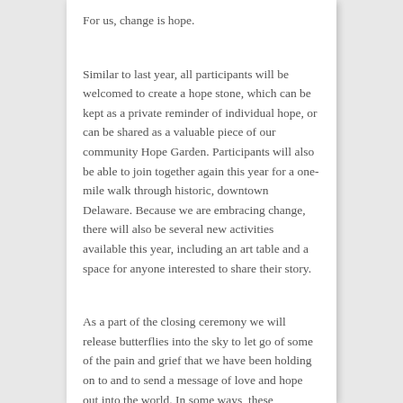For us, change is hope.
Similar to last year, all participants will be welcomed to create a hope stone, which can be kept as a private reminder of individual hope, or can be shared as a valuable piece of our community Hope Garden. Participants will also be able to join together again this year for a one-mile walk through historic, downtown Delaware. Because we are embracing change, there will also be several new activities available this year, including an art table and a space for anyone interested to share their story.
As a part of the closing ceremony we will release butterflies into the sky to let go of some of the pain and grief that we have been holding on to and to send a message of love and hope out into the world. In some ways, these butterflies resemble our own lives. Each butterfly was first a caterpillar and, with time and change, is now something almost entirely new, but yet not